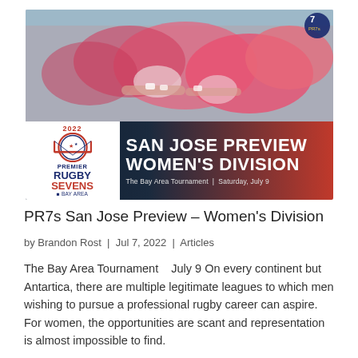[Figure (photo): Hero image for PR7s San Jose Preview Women's Division article. Shows rugby players in pink jerseys in a huddle/scrum at the top, with a dark navy/red banner at the bottom featuring the Premier Rugby Sevens Bay Area 2022 logo on the left and 'SAN JOSE PREVIEW WOMEN'S DIVISION' text in white on the right, along with subtitle 'The Bay Area Tournament | Saturday, July 9'.]
PR7s San Jose Preview – Women's Division
by Brandon Rost  |  Jul 7, 2022  |  Articles
The Bay Area Tournament   July 9 On every continent but Antartica, there are multiple legitimate leagues to which men wishing to pursue a professional rugby career can aspire. For women, the opportunities are scant and representation is almost impossible to find.